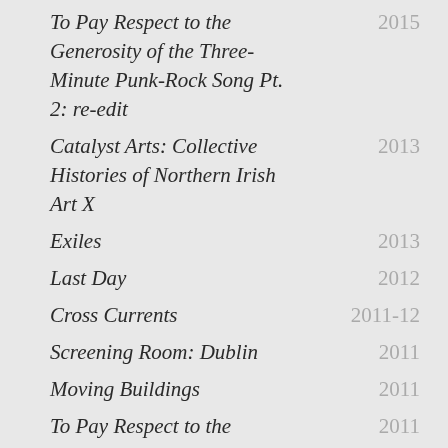To Pay Respect to the Generosity of the Three-Minute Punk-Rock Song Pt. 2: re-edit  2015
Catalyst Arts: Collective Histories of Northern Irish Art X  2013
Exiles  2013
Last Day  2012
Cross Currents  2011-12
Screening Room: Dublin  2011
Moving Buildings  2011
To Pay Respect to the  2011